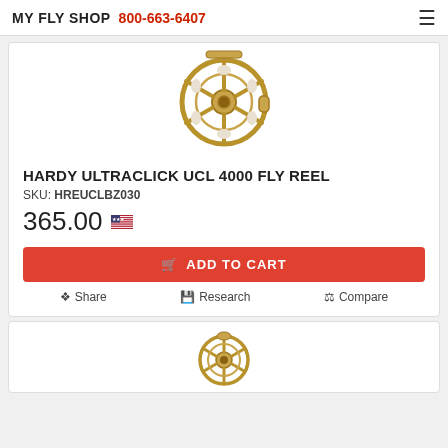MY FLY SHOP 800-663-6407
[Figure (photo): Hardy Ultraclick UCL 4000 fly reel, gold/bronze finish, lattice frame, top partial view]
HARDY ULTRACLICK UCL 4000 FLY REEL
SKU: HREUCLBZ030
365.00
ADD TO CART
Share  Research  Compare
[Figure (photo): Second fly reel product, gold/bronze finish, partially visible at bottom of page]